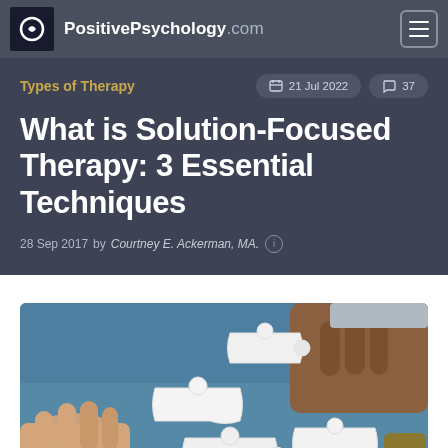PositivePsychology.com
Types of Therapy
21 Jul 2022   37
What is Solution-Focused Therapy: 3 Essential Techniques
28 Sep 2017 by Courtney E. Ackerman, MA.
[Figure (photo): Two sets of hands connecting white jigsaw puzzle pieces on a blue background]